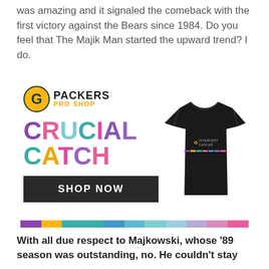was amazing and it signaled the comeback with the first victory against the Bears since 1984. Do you feel that The Majik Man started the upward trend? I do.
[Figure (infographic): Packers Pro Shop advertisement for Crucial Catch campaign featuring colorful text 'CRUCIAL CATCH' with a black t-shirt showing 'Intercept Cancer' logo and a 'SHOP NOW' button, with a multicolor stripe at the bottom.]
With all due respect to Majkowski, whose '89 season was outstanding, no. He couldn't stay